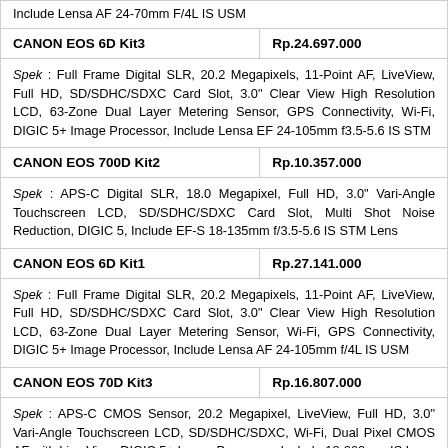Include Lensa AF 24-70mm F/4L IS USM
| CANON EOS 6D Kit3 | Rp.24.697.000 |
| Spek : Full Frame Digital SLR, 20.2 Megapixels, 11-Point AF, LiveView, Full HD, SD/SDHC/SDXC Card Slot, 3.0" Clear View High Resolution LCD, 63-Zone Dual Layer Metering Sensor, GPS Connectivity, Wi-Fi, DIGIC 5+ Image Processor, Include Lensa EF 24-105mm f3.5-5.6 IS STM |  |
| CANON EOS 700D Kit2 | Rp.10.357.000 |
| Spek : APS-C Digital SLR, 18.0 Megapixel, Full HD, 3.0" Vari-Angle Touchscreen LCD, SD/SDHC/SDXC Card Slot, Multi Shot Noise Reduction, DIGIC 5, Include EF-S 18-135mm f/3.5-5.6 IS STM Lens |  |
| CANON EOS 6D Kit1 | Rp.27.141.000 |
| Spek : Full Frame Digital SLR, 20.2 Megapixels, 11-Point AF, LiveView, Full HD, SD/SDHC/SDXC Card Slot, 3.0" Clear View High Resolution LCD, 63-Zone Dual Layer Metering Sensor, Wi-Fi, GPS Connectivity, DIGIC 5+ Image Processor, Include Lensa AF 24-105mm f/4L IS USM |  |
| CANON EOS 70D Kit3 | Rp.16.807.000 |
| Spek : APS-C CMOS Sensor, 20.2 Megapixel, LiveView, Full HD, 3.0" Vari-Angle Touchscreen LCD, SD/SDHC/SDXC, Wi-Fi, Dual Pixel CMOS AF with Live View, DIGIC 5+ Image Processor, Include 18-200mm IS Lens |  |